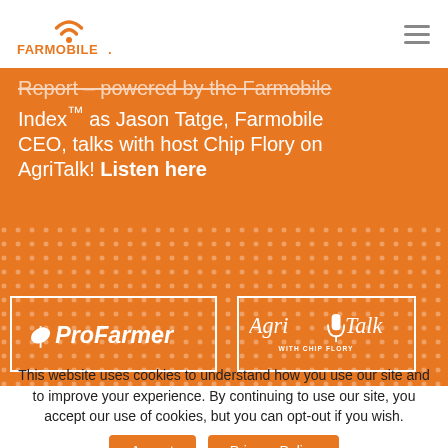[Figure (logo): Farmobile logo with orange WiFi/signal icon above stylized phone, text FARMOBILE with registered mark]
Report – powered by the Farmobile Index™ as Jason Tatge, Farmobile CEO, talks with host Chip Flory on AgriTalk! Listen here
[Figure (logo): ProFarmer and AgriTalk with Chip Flory logos inside white bordered rectangles on orange background]
This website uses cookies to understand how you use our site and to improve your experience. By continuing to use our site, you accept our use of cookies, but you can opt-out if you wish.